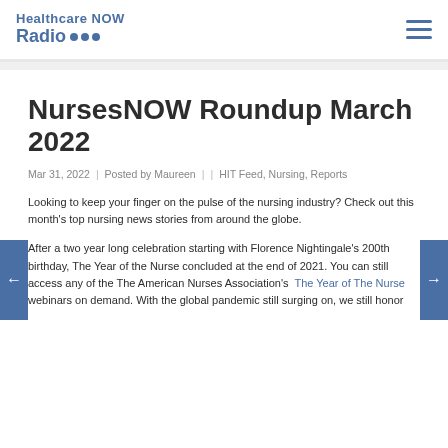Healthcare NOW Radio
NursesNOW Roundup March 2022
Mar 31, 2022  |  Posted by Maureen  |  |  HIT Feed, Nursing, Reports
Looking to keep your finger on the pulse of the nursing industry? Check out this month's top nursing news stories from around the globe.
After a two year long celebration starting with Florence Nightingale's 200th birthday, The Year of the Nurse concluded at the end of 2021. You can still access any of the The American Nurses Association's  The Year of The Nurse webinars on demand. With the global pandemic still surging on, we still honor